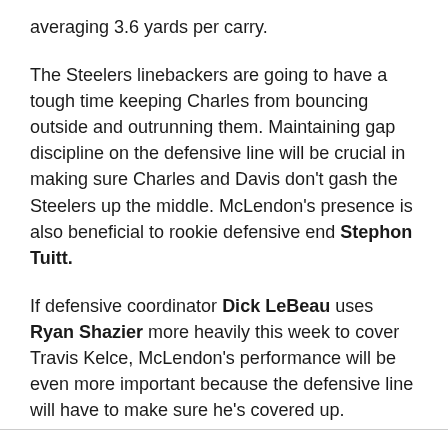averaging 3.6 yards per carry.
The Steelers linebackers are going to have a tough time keeping Charles from bouncing outside and outrunning them. Maintaining gap discipline on the defensive line will be crucial in making sure Charles and Davis don't gash the Steelers up the middle. McLendon's presence is also beneficial to rookie defensive end Stephon Tuitt.
If defensive coordinator Dick LeBeau uses Ryan Shazier more heavily this week to cover Travis Kelce, McLendon's performance will be even more important because the defensive line will have to make sure he's covered up.